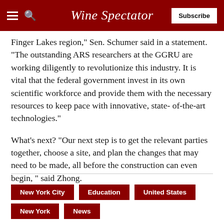Wine Spectator
Finger Lakes region," Sen. Schumer said in a statement. "The outstanding ARS researchers at the GGRU are working diligently to revolutionize this industry. It is vital that the federal government invest in its own scientific workforce and provide them with the necessary resources to keep pace with innovative, state- of-the-art technologies."
What's next? "Our next step is to get the relevant parties together, choose a site, and plan the changes that may need to be made, all before the construction can even begin, " said Zhong.
New York City
Education
United States
New York
News